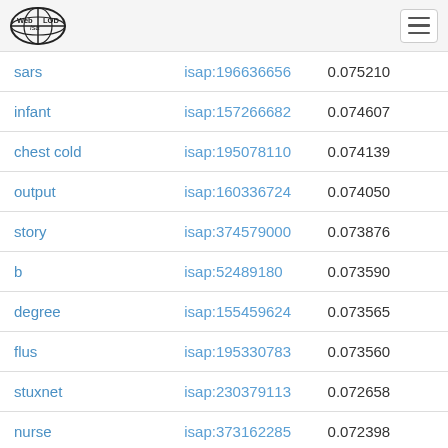Web isa LOD
| sars | isap:196636656 | 0.075210 |
| infant | isap:157266682 | 0.074607 |
| chest cold | isap:195078110 | 0.074139 |
| output | isap:160336724 | 0.074050 |
| story | isap:374579000 | 0.073876 |
| b | isap:52489180 | 0.073590 |
| degree | isap:155459624 | 0.073565 |
| flus | isap:195330783 | 0.073560 |
| stuxnet | isap:230379113 | 0.072658 |
| nurse | isap:373162285 | 0.072398 |
| prevention | isap:259215213 | 0.071551 |